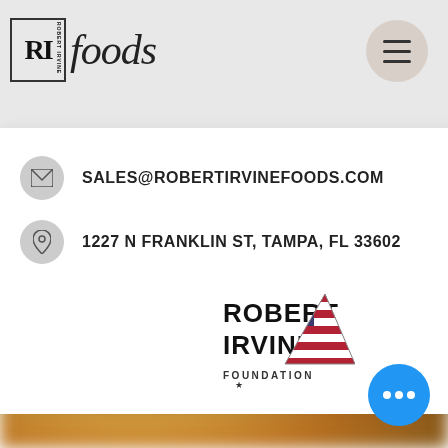[Figure (screenshot): Robert Irvine Foods website screenshot showing navigation bar with RI Foods logo, hamburger menu button, dropdown with email contact SALES@ROBERTIRVINEFOODS.COM, address 1227 N FRANKLIN ST, TAMPA, FL 33602, Robert Irvine Foundation logo, partially visible text on right side, blurred food image in lower portion, and blue chat button]
s time
n the
ooked
East,
s, in
en for
t was
SALES@ROBERTIRVINEFOODS.COM
1227 N FRANKLIN ST, TAMPA, FL 33602